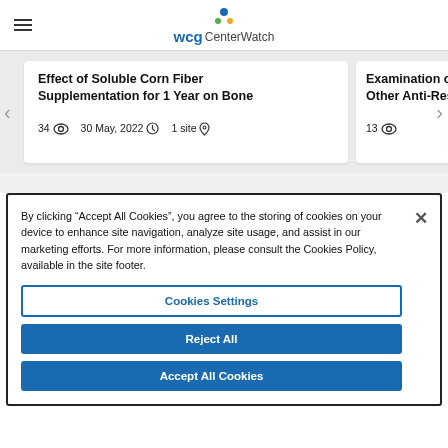[Figure (logo): WCG CenterWatch logo with colored dots]
Effect of Soluble Corn Fiber Supplementation for 1 Year on Bone
34 👁  30 May, 2022 🕐  1 site 📍
Examination of Effi... Other Anti-Resorpt...
13 👁
By clicking "Accept All Cookies", you agree to the storing of cookies on your device to enhance site navigation, analyze site usage, and assist in our marketing efforts. For more information, please consult the Cookies Policy, available in the site footer.
Cookies Settings
Reject All
Accept All Cookies